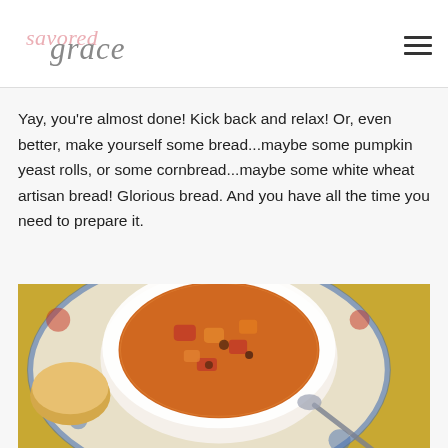savored grace
Yay, you're almost done! Kick back and relax! Or, even better, make yourself some bread...maybe some pumpkin yeast rolls, or some cornbread...maybe some white wheat artisan bread! Glorious bread. And you have all the time you need to prepare it.
[Figure (photo): A bowl of chunky orange and tomato stew/soup with beans, served in a white bowl on a decorative plate with blue and red floral pattern, alongside a piece of bread, placed on a yellow surface.]